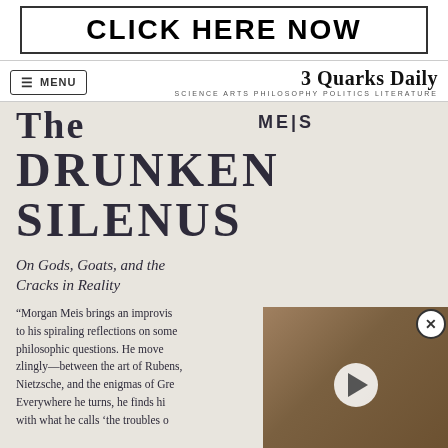[Figure (other): Advertisement banner with bold text reading CLICK HERE NOW in a bordered box]
MENU | 3 Quarks Daily
SCIENCE ARTS PHILOSOPHY POLITICS LITERATURE
[Figure (photo): Book cover image for 'The Drunken Silenus: On Gods, Goats, and the Cracks in Reality' by Meis, showing book title in large bold decorative type on a textured background. A video overlay appears in the bottom right corner with a play button.]
"Morgan Meis brings an improvis... to his spiraling reflections on some... philosophic questions. He move... zlingly—between the art of Rubens, Nietzsche, and the enigmas of Gre... Everywhere he turns, he finds hi... with what he calls 'the troubles o...